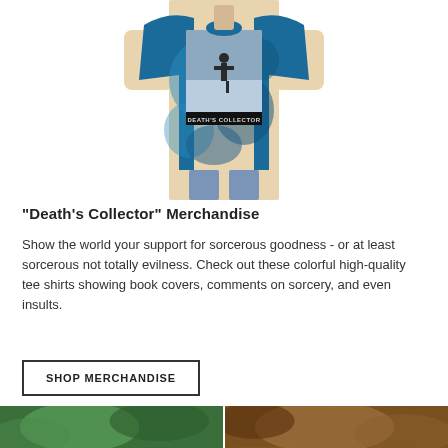[Figure (photo): Person wearing a blue tie-dye t-shirt featuring 'Death's Collector' book cover art with a dark fantasy warrior figure]
"Death's Collector" Merchandise
Show the world your support for sorcerous goodness - or at least sorcerous not totally evilness. Check out these colorful high-quality tee shirts showing book covers, comments on sorcery, and even insults.
SHOP MERCHANDISE
[Figure (photo): Two partial images at the bottom of the page showing green and brown-toned merchandise or book imagery]